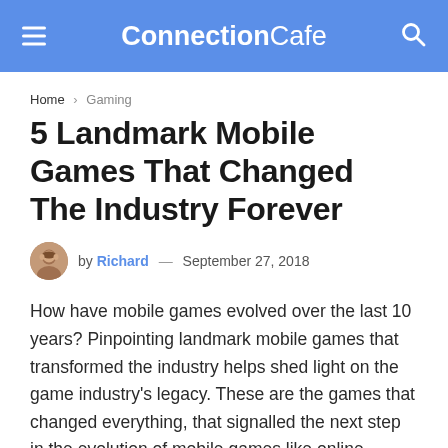ConnectionCafe
Home › Gaming
5 Landmark Mobile Games That Changed The Industry Forever
by Richard — September 27, 2018
How have mobile games evolved over the last 10 years? Pinpointing landmark mobile games that transformed the industry helps shed light on the game industry's legacy. These are the games that changed everything, that signalled the next step in the evolution of mobile games like online casinos done for land based casinos where you get best online casino deals in comparison